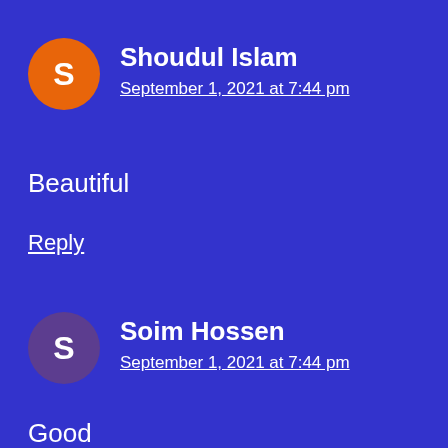[Figure (illustration): Orange circle avatar with white letter S for user Shoudul Islam]
Shoudul Islam
September 1, 2021 at 7:44 pm
Beautiful
Reply
[Figure (illustration): Purple circle avatar with white letter S for user Soim Hossen]
Soim Hossen
September 1, 2021 at 7:44 pm
Good